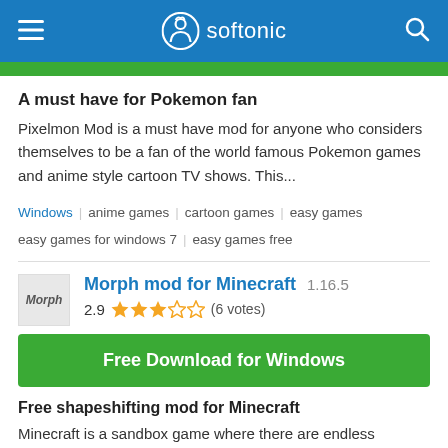softonic
[Figure (other): Green download button bar (partially visible at top)]
A must have for Pokemon fan
Pixelmon Mod is a must have mod for anyone who considers themselves to be a fan of the world famous Pokemon games and anime style cartoon TV shows. This...
Windows | anime games | cartoon games | easy games | easy games for windows 7 | easy games free
[Figure (screenshot): Morph mod for Minecraft app icon showing text 'Morph']
Morph mod for Minecraft 1.16.5
2.9 ★★★☆☆ (6 votes)
[Figure (other): Green Free Download for Windows button]
Free shapeshifting mod for Minecraft
Minecraft is a sandbox game where there are endless possibilities. Morph mod for Minecraft is a utility tool that allows Minecrafters to shapeshift into...